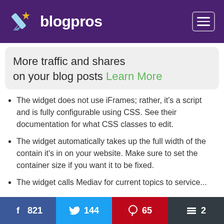blogpros
More traffic and shares on your blog posts Learn More
The widget does not use iFrames; rather, it's a script and is fully configurable using CSS. See their documentation for what CSS classes to edit.
The widget automatically takes up the full width of the contain it's in on your website. Make sure to set the container size if you want it to be fixed.
The widget... (partially visible)
f 821   Twitter 144   Pinterest 65   Buffer 2